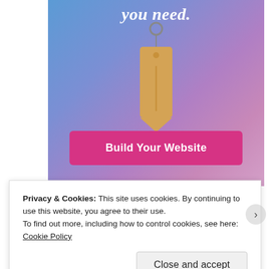[Figure (illustration): Website builder promotional banner with gradient blue-to-purple background, showing text 'you need.' in white italic, a hanging price tag illustration, and a pink 'Build Your Website' button]
Privacy & Cookies: This site uses cookies. By continuing to use this website, you agree to their use.
To find out more, including how to control cookies, see here: Cookie Policy
Close and accept